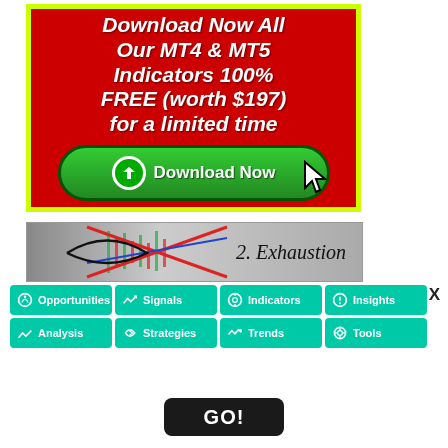[Figure (illustration): Red advertisement banner with yellow-green border promoting MT4 & MT5 indicators free download. White bold italic text reads 'Download Now All Our MT4 & MT5 Indicators 100% FREE (worth $197) for a limited time'. Green rounded button with down-arrow icon and text 'Download Now' and a cursor arrow icon.]
[Figure (illustration): Gray gradient banner with candlestick chart pattern and text '2. Exhaustion' in italic font with a red X cross and blue line overlaid.]
[Figure (infographic): Navigation grid with 8 teal/green buttons in 2 rows: Opportunities, Signals, Indicators, Insights, Analysis, Strategies, Trends, Tools. Black X close button top right.]
[Figure (illustration): Black rounded rectangle button with white text 'GO!']